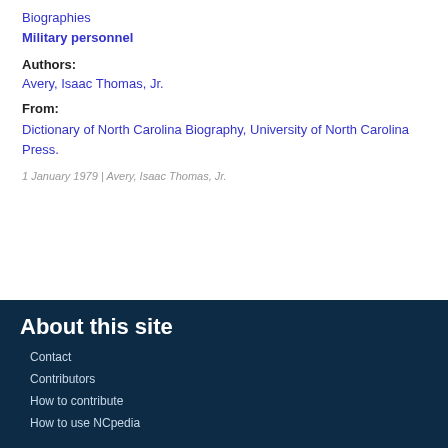Biographies
Military personnel
Authors:
Avery, Isaac Thomas, Jr.
From:
Dictionary of North Carolina Biography, University of North Carolina Press.
1 January 1979 | Avery, Isaac Thomas, Jr.
About this site
Contact
Contributors
How to contribute
How to use NCpedia